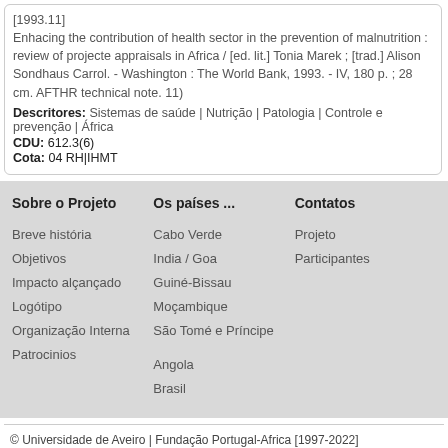[1993.11] Enhacing the contribution of health sector in the prevention of malnutrition : review of projecte appraisals in Africa / [ed. lit.] Tonia Marek ; [trad.] Alison Sondhaus Carrol. - Washington : The World Bank, 1993. - IV, 180 p. ; 28 cm. AFTHR technical note. 11)
Descritores: Sistemas de saúde | Nutrição | Patologia | Controle e prevenção | África
CDU: 612.3(6)
Cota: 04 RH|IHMT
Sobre o Projeto
Os países ...
Contatos
Breve história
Objetivos
Impacto alçançado
Logótipo
Organização Interna
Patrocinios
Cabo Verde
India / Goa
Guiné-Bissau
Moçambique
São Tomé e Príncipe
Angola
Brasil
Projeto
Participantes
© Universidade de Aveiro | Fundação Portugal-Africa [1997-2022]